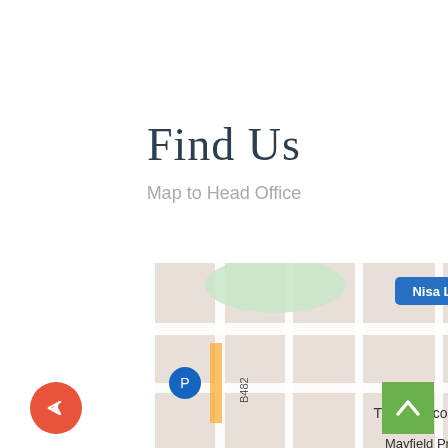Find Us
Map to Head Office
[Figure (map): Google Maps screenshot showing Mayfield area with markers for Nisa Local, Tracey Nicol Therapies, and Mayfield Primary School. Streets visible include D'Arcy Rd, Oak Cres, Stone Ave, and road B482.]